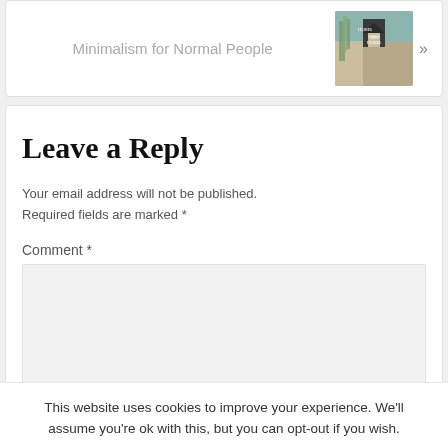Minimalism for Normal People »
Leave a Reply
Your email address will not be published. Required fields are marked *
Comment *
This website uses cookies to improve your experience. We'll assume you're ok with this, but you can opt-out if you wish.